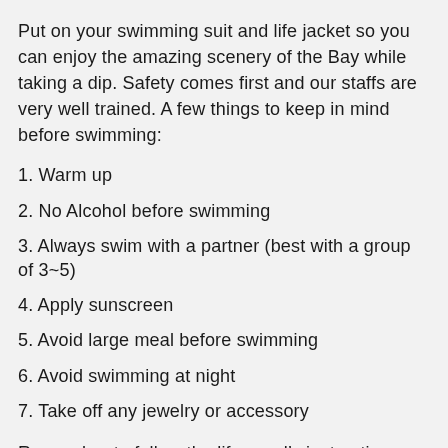Put on your swimming suit and life jacket so you can enjoy the amazing scenery of the Bay while taking a dip. Safety comes first and our staffs are very well trained. A few things to keep in mind before swimming:
1. Warm up
2. No Alcohol before swimming
3. Always swim with a partner (best with a group of 3~5)
4. Apply sunscreen
5. Avoid large meal before swimming
6. Avoid swimming at night
7. Take off any jewelry or accessory
Remember to follow the lifeguard’s instructions, it’s best